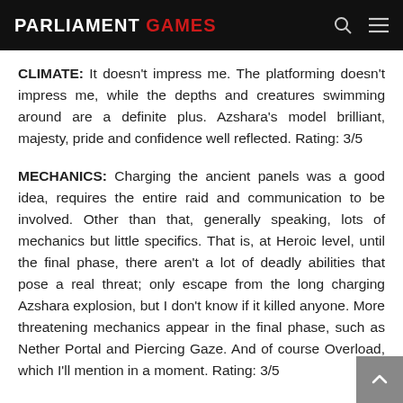PARLIAMENT GAMES
CLIMATE: It doesn't impress me. The platforming doesn't impress me, while the depths and creatures swimming around are a definite plus. Azshara's model brilliant, majesty, pride and confidence well reflected. Rating: 3/5
MECHANICS: Charging the ancient panels was a good idea, requires the entire raid and communication to be involved. Other than that, generally speaking, lots of mechanics but little specifics. That is, at Heroic level, until the final phase, there aren't a lot of deadly abilities that pose a real threat; only escape from the long charging Azshara explosion, but I don't know if it killed anyone. More threatening mechanics appear in the final phase, such as Nether Portal and Piercing Gaze. And of course Overload, which I'll mention in a moment. Rating: 3/5